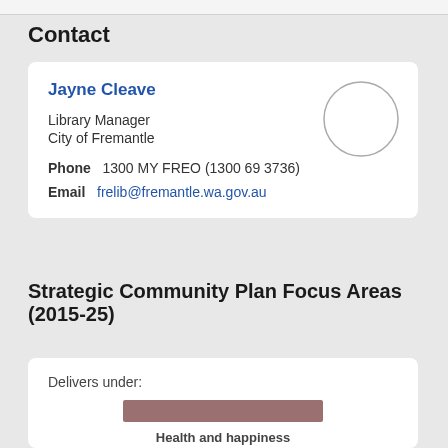Contact
Jayne Cleave
Library Manager
City of Fremantle
Phone  1300 MY FREO (1300 69 3736)
Email  frelib@fremantle.wa.gov.au
Strategic Community Plan Focus Areas (2015-25)
Delivers under:
Health and happiness